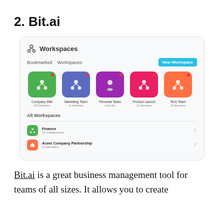2. Bit.ai
[Figure (screenshot): Screenshot of Bit.ai Workspaces interface showing Bookmarked Workspaces with colored cards (Company Wiki, Marketing Team, Personal Tasks, Product Launch, Tech Team) and All Workspaces list with Finance and Acme Company Partnership entries, and a New Workspace button.]
Bit.ai is a great business management tool for teams of all sizes. It allows you to create